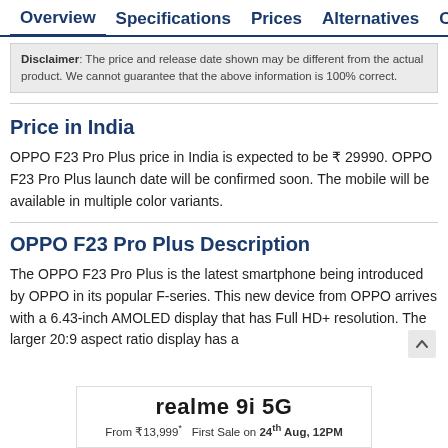Overview  Specifications  Prices  Alternatives  Compar…
Disclaimer: The price and release date shown may be different from the actual product. We cannot guarantee that the above information is 100% correct.
Price in India
OPPO F23 Pro Plus price in India is expected to be ₹ 29990. OPPO F23 Pro Plus launch date will be confirmed soon. The mobile will be available in multiple color variants.
OPPO F23 Pro Plus Description
The OPPO F23 Pro Plus is the latest smartphone being introduced by OPPO in its popular F-series. This new device from OPPO arrives with a 6.43-inch AMOLED display that has Full HD+ resolution. The larger 20:9 aspect ratio display has a
[Figure (infographic): Advertisement banner for realme 9i 5G. Text: realme 9i 5G, From ₹13,999* First Sale on 24th Aug, 12PM]